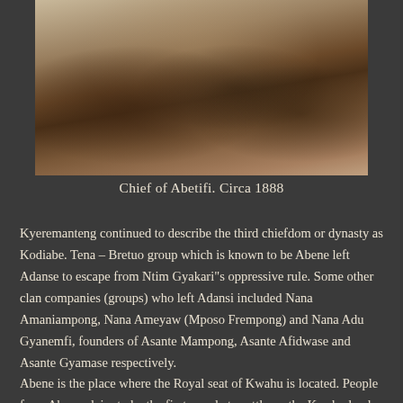[Figure (photo): Historical black and white sepia photograph of the Chief of Abetifi and a group of people, circa 1888. Multiple individuals seated and gathered together in an outdoor setting.]
Chief of Abetifi. Circa 1888
Kyeremanteng continued to describe the third chiefdom or dynasty as Kodiabe. Tena – Bretuo group which is known to be Abene left Adanse to escape from Ntim Gyakari"s oppressive rule. Some other clan companies (groups) who left Adansi included Nana Amaniampong, Nana Ameyaw (Mposo Frempong) and Nana Adu Gyanemfi, founders of Asante Mampong, Asante Afidwase and Asante Gyamase respectively. Abene is the place where the Royal seat of Kwahu is located. People from Abene claim to be the first people to settle on the Kwahu land, which is in the valley. However, the people from Burukuwa claim to